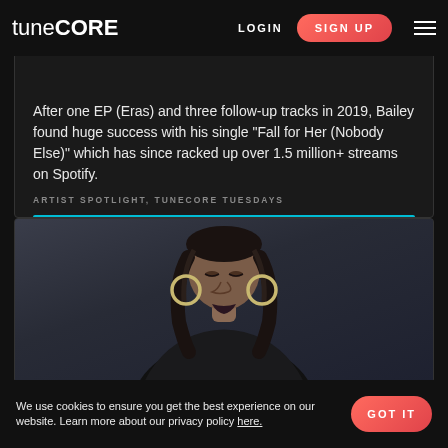tune CORE  LOGIN  SIGN UP
After one EP (Eras) and three follow-up tracks in 2019, Bailey found huge success with his single "Fall for Her (Nobody Else)" which has since racked up over 1.5 million+ streams on Spotify.
ARTIST SPOTLIGHT, TUNECORE TUESDAYS
VIEW POST
[Figure (photo): Portrait of a young woman with braided hair and large hoop earrings, looking downward against a dark background]
We use cookies to ensure you get the best experience on our website. Learn more about our privacy policy here.
GOT IT